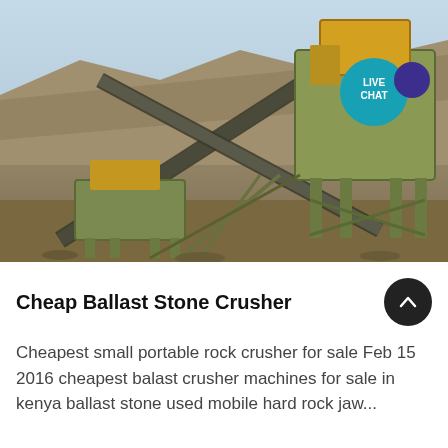[Figure (photo): Industrial stone crusher / ballast crushing machine in an open quarry. Large yellow and green steel machinery with conveyor belts crossing diagonally, set against a quarry hillside under a clear sky. A blue circular 'LIVE CHAT' button overlay appears in the top-right area of the image.]
Cheap Ballast Stone Crusher
Cheapest small portable rock crusher for sale Feb 15 2016 cheapest balast crusher machines for sale in kenya ballast stone used mobile hard rock jaw...